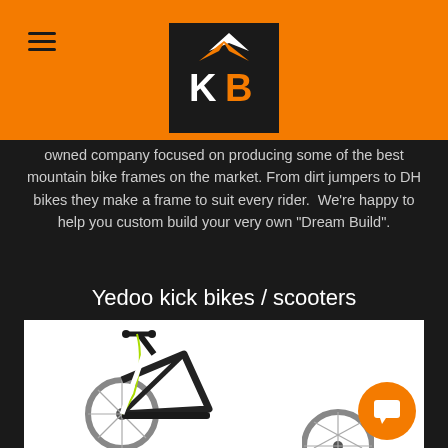[Figure (logo): KB Kickbike logo — black square with orange and white KB letters and mountain graphic]
owned company focused on producing some of the best mountain bike frames on the market. From dirt jumpers to DH bikes they make a frame to suit every rider.  We're happy to help you custom build your very own "Dream Build".
Yedoo kick bikes / scooters
[Figure (photo): White and black kick scooter / kick bike with green brake cable on the left, partial wheel on the right, on white background]